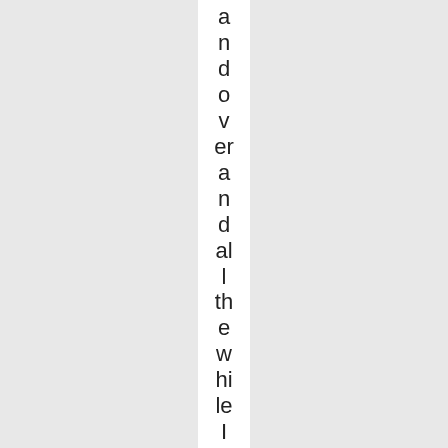a
n
d
o
v
er
a
n
d
al
l
th
e
w
hi
le
I
w
a
s
g
et
ti
n'
a
lit
tl
e
m